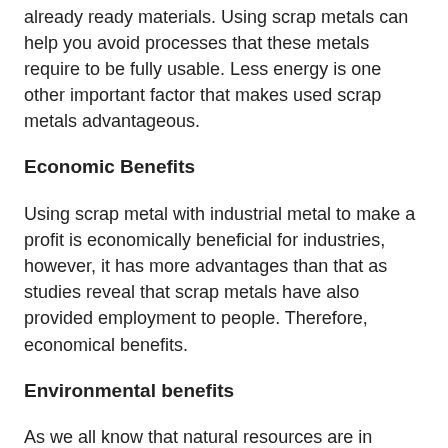already ready materials. Using scrap metals can help you avoid processes that these metals require to be fully usable. Less energy is one other important factor that makes used scrap metals advantageous.
Economic Benefits
Using scrap metal with industrial metal to make a profit is economically beneficial for industries, however, it has more advantages than that as studies reveal that scrap metals have also provided employment to people. Therefore, economical benefits.
Environmental benefits
As we all know that natural resources are in scarcity, therefore, we must find other alternatives to finding materials for production. We already have an abundance of scrap metals that can be recycled and reused to suit our daily